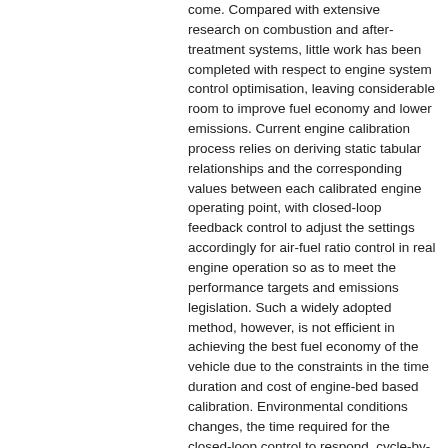come. Compared with extensive research on combustion and after-treatment systems, little work has been completed with respect to engine system control optimisation, leaving considerable room to improve fuel economy and lower emissions. Current engine calibration process relies on deriving static tabular relationships and the corresponding values between each calibrated engine operating point, with closed-loop feedback control to adjust the settings accordingly for air-fuel ratio control in real engine operation so as to meet the performance targets and emissions legislation. Such a widely adopted method, however, is not efficient in achieving the best fuel economy of the vehicle due to the constraints in the time duration and cost of engine-bed based calibration. Environmental conditions changes, the time required for the closed-loop control to respond, cycle-by-cycle variations, and cylinder-to-cylinder variations make the